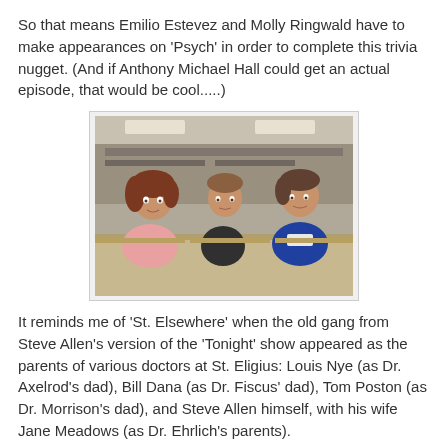So that means Emilio Estevez and Molly Ringwald have to make appearances on 'Psych' in order to complete this trivia nugget. (And if Anthony Michael Hall could get an actual episode, that would be cool.....)
[Figure (photo): A still photo from what appears to be The Breakfast Club, showing three young actors seated at school desks in a library/classroom setting. A woman with reddish-brown hair in a pink top is on the left, a young man in a black top in the middle, and a young man in a blue jacket on the right.]
It reminds me of 'St. Elsewhere' when the old gang from Steve Allen's version of the 'Tonight' show appeared as the parents of various doctors at St. Eligius: Louis Nye (as Dr. Axelrod's dad), Bill Dana (as Dr. Fiscus' dad), Tom Poston (as Dr. Morrison's dad), and Steve Allen himself, with his wife Jane Meadows (as Dr. Ehrlich's parents).
BCnU!